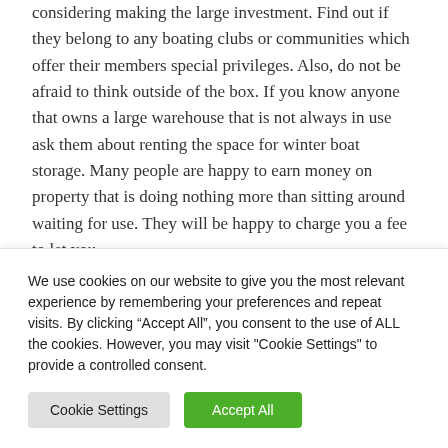considering making the large investment. Find out if they belong to any boating clubs or communities which offer their members special privileges. Also, do not be afraid to think outside of the box. If you know anyone that owns a large warehouse that is not always in use ask them about renting the space for winter boat storage. Many people are happy to earn money on property that is doing nothing more than sitting around waiting for use. They will be happy to charge you a fee to let you
We use cookies on our website to give you the most relevant experience by remembering your preferences and repeat visits. By clicking “Accept All”, you consent to the use of ALL the cookies. However, you may visit "Cookie Settings" to provide a controlled consent.